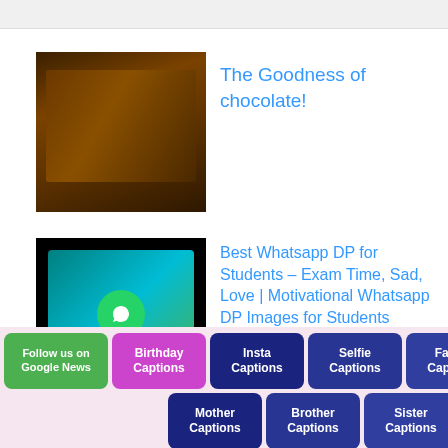[Figure (photo): Chocolate bars photo]
The Goodness of chocolate!
[Figure (screenshot): WhatsApp app on a phone screen]
Best Whatsapp DP for Students – Exam Time, Sad, Love | Motivational Whatsapp DP Images for Students
[Figure (illustration): Character Traits List with Examples - light blue placeholder image]
Character Traits List with Examples | What are the 10 Personality Traits?
Follow us on Google News
Birthday Captions
Insta Captions
Selfie Captions
Father Captions
Mother Captions
Brother Captions
Sister Captions